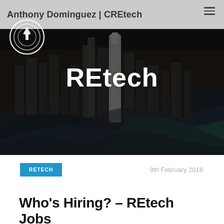Anthony Dominguez | CREtech
[Figure (photo): Aerial city view with skyscrapers and roads, dark overlay, with REtech text overlay in white bold]
REtech
RETECH
9th February 2016
Who's Hiring? – REtech Jobs